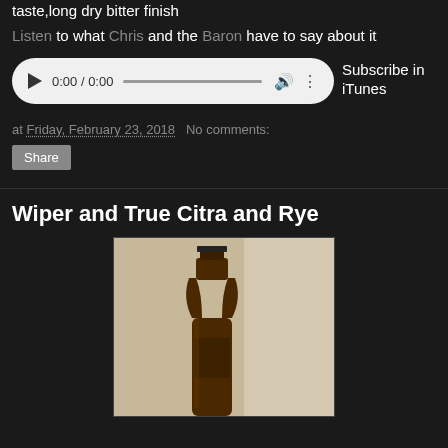taste,long dry bitter finish
Listen to what Chris and the Baron have to say about it
[Figure (other): Audio player widget showing 0:00 / 0:00 with play button, progress bar, volume and menu icons]
Subscribe in iTunes
at Friday, February 23, 2018   No comments:
Share
Wiper and True Citra and Rye
[Figure (photo): Photo of a dark brown beer bottle against a light beige background]